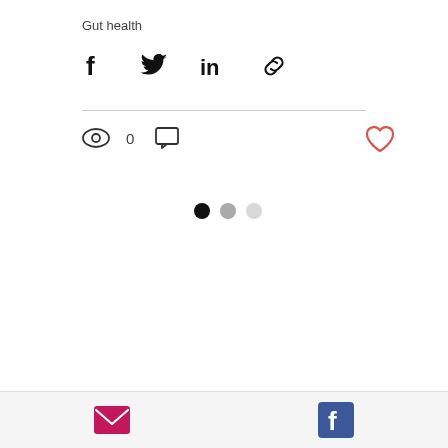Gut health
[Figure (infographic): Social share icons: Facebook, Twitter, LinkedIn, Link]
[Figure (infographic): View count (eye icon with 0), comment icon, and heart (like) button]
[Figure (infographic): Three pagination dots: one black, one medium gray, one light gray]
[Figure (infographic): Footer bar with email (pink envelope) and Facebook (blue) icons]